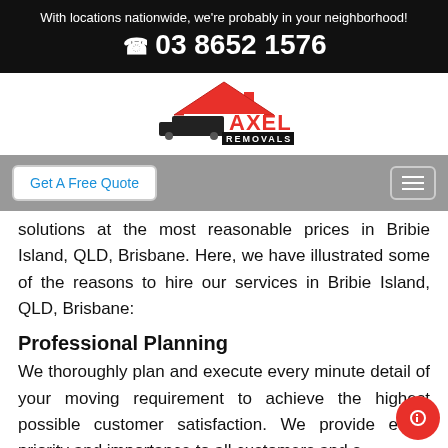With locations nationwide, we're probably in your neighborhood!
☎ 03 8652 1576
[Figure (logo): Axel Removals logo with a red house roof, moving truck, and the text AXEL REMOVALS]
Get A Free Quote
solutions at the most reasonable prices in Bribie Island, QLD, Brisbane. Here, we have illustrated some of the reasons to hire our services in Bribie Island, QLD, Brisbane:
Professional Planning
We thoroughly plan and execute every minute detail of your moving requirement to achieve the highest possible customer satisfaction. We provide equal priority and importance to all customers and s…